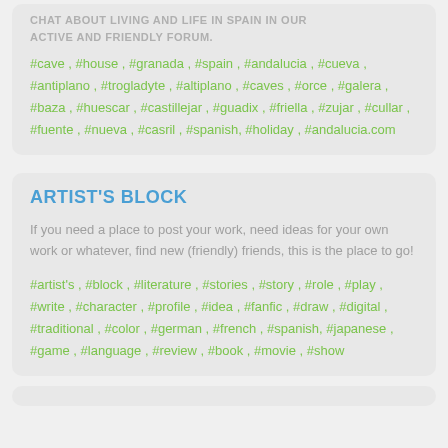CHAT ABOUT LIVING AND LIFE IN SPAIN IN OUR ACTIVE AND FRIENDLY FORUM.
#cave , #house , #granada , #spain , #andalucia , #cueva , #antiplano , #trogladyte , #altiplano , #caves , #orce , #galera , #baza , #huescar , #castillejar , #guadix , #friella , #zujar , #cullar , #fuente , #nueva , #casril , #spanish, #holiday , #andalucia.com
ARTIST'S BLOCK
If you need a place to post your work, need ideas for your own work or whatever, find new (friendly) friends, this is the place to go!
#artist's , #block , #literature , #stories , #story , #role , #play , #write , #character , #profile , #idea , #fanfic , #draw , #digital , #traditional , #color , #german , #french , #spanish, #japanese , #game , #language , #review , #book , #movie , #show